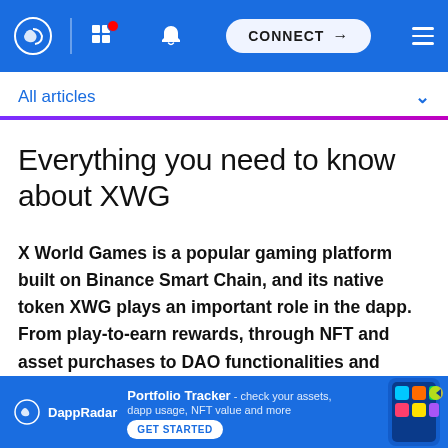DappRadar navigation bar with CONNECT button
All articles
Everything you need to know about XWG
X World Games is a popular gaming platform built on Binance Smart Chain, and its native token XWG plays an important role in the dapp. From play-to-earn rewards, through NFT and asset purchases to DAO functionalities and governance, the token lays at the heart of all activity on the platform.
[Figure (infographic): DappRadar Portfolio Tracker promotional banner with logo, text and GET STARTED button]